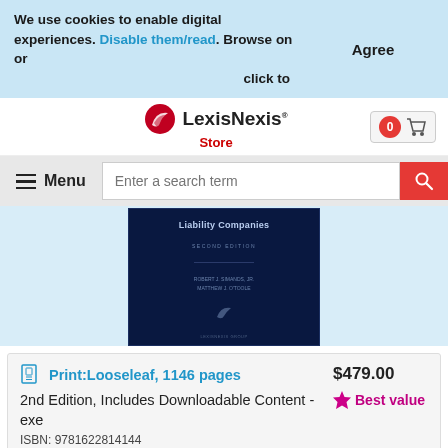We use cookies to enable digital experiences. Disable them/read. Browse on or click to
Agree
[Figure (logo): LexisNexis Store logo with red swoosh icon]
Menu
Enter a search term
[Figure (photo): Dark navy book cover for Liability Companies, Second Edition by Robert J. Simands Jr. and Matthew J. O'Toole]
Print:Looseleaf, 1146 pages
2nd Edition, Includes Downloadable Content - exe
ISBN: 9781622814144
$479.00
Best value